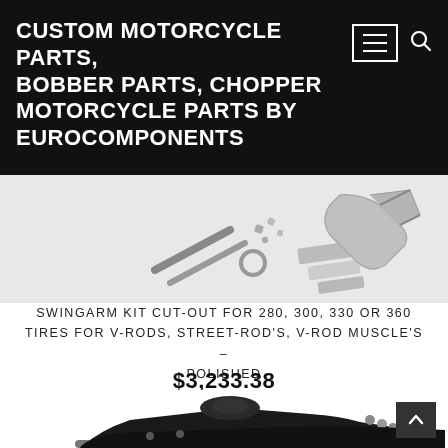CUSTOM MOTORCYCLE PARTS, BOBBER PARTS, CHOPPER MOTORCYCLE PARTS BY EUROCOMPONENTS
[Figure (photo): Motorcycle swingarm kit parts laid out — includes bolts, washers, metal spacers and frame component, all in silver/metallic finish on white background]
SWINGARM KIT CUT-OUT FOR 280, 300, 330 OR 360 TIRES FOR V-RODS, STREET-ROD'S, V-ROD MUSCLE'S – POLISHED
$3,233.38
[Figure (photo): Black polished swingarm motorcycle part — large forked rear swingarm assembly with axle, shown against white background]